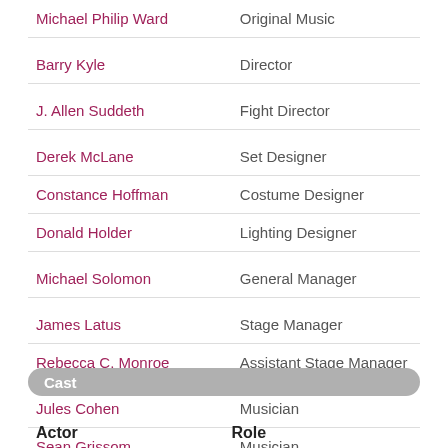| Name | Role |
| --- | --- |
| Michael Philip Ward | Original Music |
| Barry Kyle | Director |
| J. Allen Suddeth | Fight Director |
| Derek McLane | Set Designer |
| Constance Hoffman | Costume Designer |
| Donald Holder | Lighting Designer |
| Michael Solomon | General Manager |
| James Latus | Stage Manager |
| Rebecca C. Monroe | Assistant Stage Manager |
| Jules Cohen | Musician |
| Sean Grissom | Musician |
Cast
| Actor | Role |
| --- | --- |